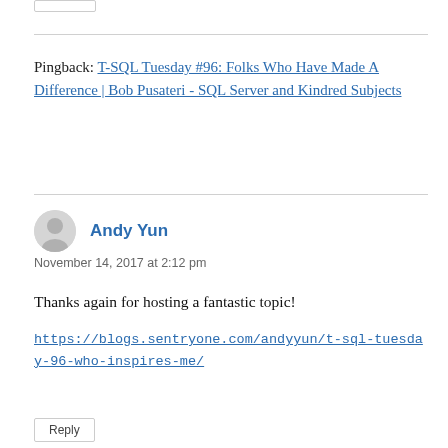Pingback: T-SQL Tuesday #96: Folks Who Have Made A Difference | Bob Pusateri - SQL Server and Kindred Subjects
Andy Yun
November 14, 2017 at 2:12 pm

Thanks again for hosting a fantastic topic!

https://blogs.sentryone.com/andyyun/t-sql-tuesday-96-who-inspires-me/